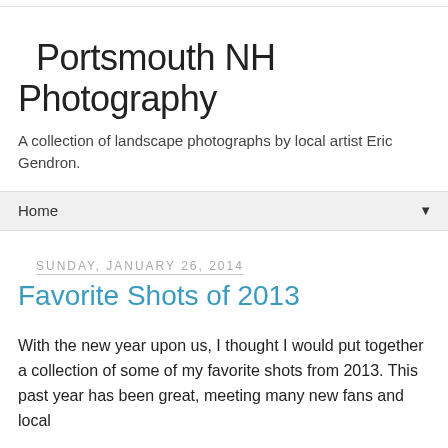Portsmouth NH Photography
A collection of landscape photographs by local artist Eric Gendron.
Home
Sunday, January 26, 2014
Favorite Shots of 2013
With the new year upon us, I thought I would put together a collection of some of my favorite shots from 2013. This past year has been great, meeting many new fans and local